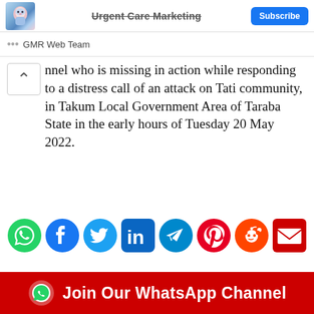Urgent Care Marketing — GMR Web Team
nnel who is missing in action while responding to a distress call of an attack on Tati community, in Takum Local Government Area of Taraba State in the early hours of Tuesday 20 May 2022.
[Figure (infographic): Social media share icons: WhatsApp, Facebook, Twitter, LinkedIn, Telegram, Pinterest, Reddit, Email]
Join Our WhatsApp Channel